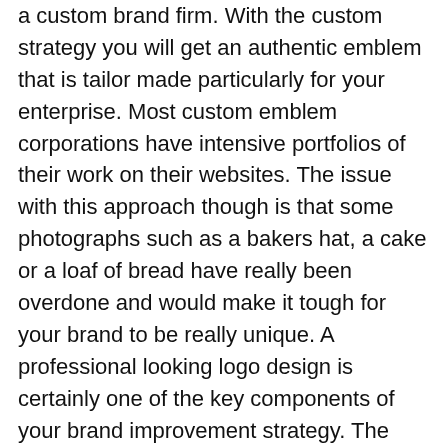a custom brand firm. With the custom strategy you will get an authentic emblem that is tailor made particularly for your enterprise. Most custom emblem corporations have intensive portfolios of their work on their websites. The issue with this approach though is that some photographs such as a bakers hat, a cake or a loaf of bread have really been overdone and would make it tough for your brand to be really unique. A professional looking logo design is certainly one of the key components of your brand improvement strategy. The most important uses for a bakery or cake store are sometimes on signage and the baggage or packaging which might be used to promote products. Of secondary importance are enterprise playing cards, promoting and different advertising functions. Give them as many details as you'll be able to about your bakery or cake business and the sort of shoppers that you simply hope to attract.